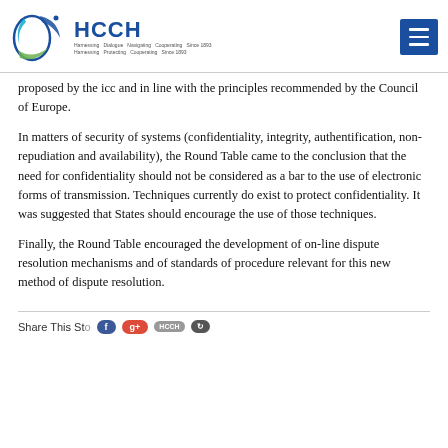HCCH — Harnessing Dialogue. Navigating. Cooperating. Since 1893.
proposed by the icc and in line with the principles recommended by the Council of Europe.
In matters of security of systems (confidentiality, integrity, authentification, non-repudiation and availability), the Round Table came to the conclusion that the need for confidentiality should not be considered as a bar to the use of electronic forms of transmission. Techniques currently do exist to protect confidentiality. It was suggested that States should encourage the use of those techniques.
Finally, the Round Table encouraged the development of on-line dispute resolution mechanisms and of standards of procedure relevant for this new method of dispute resolution.
Share This Story